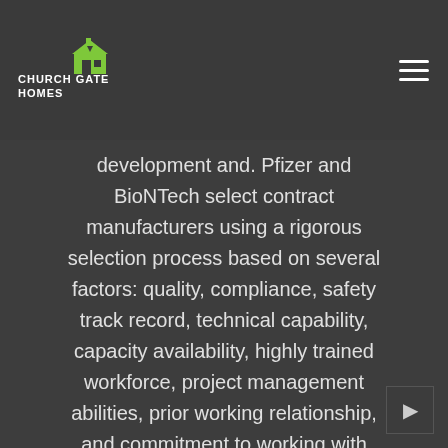[Figure (logo): Church Gate Homes logo with house icon and text]
robust manufacturing capabilities. BioNTech and its collaborators are developing multiple mRNA vaccine
development and. Pfizer and BioNTech select contract manufacturers using a rigorous selection process based on several factors: quality, compliance, safety track record, technical capability, capacity availability, highly trained workforce, project management abilities, prior working relationship, and commitment to working with flexibility through a fast-paced program. View source version on businesswire.